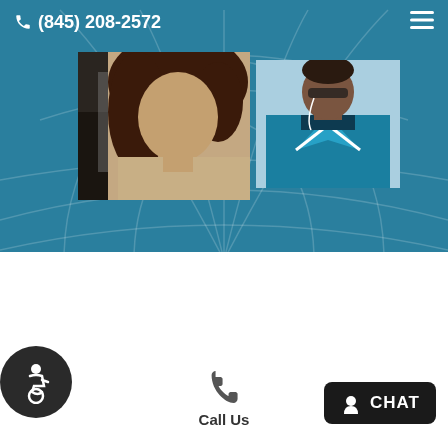(845) 208-2572
[Figure (photo): Two photos: a woman with curly hair in a vehicle, and a man in a blue athletic shirt with earbuds]
[Figure (illustration): Accessibility wheelchair icon in a dark circular badge]
[Figure (illustration): Phone/call icon]
Call Us
[Figure (illustration): Chat button with person icon and CHAT label]